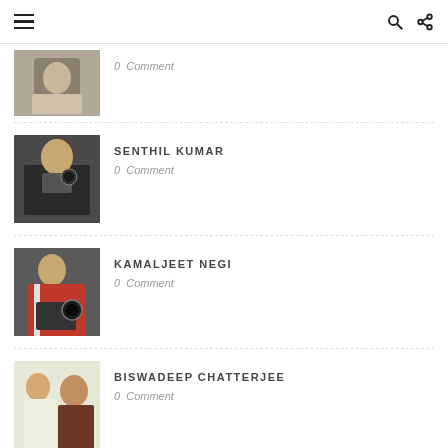Menu | Search | Share
[Figure (photo): Person sitting, partially visible at top of list]
0  Comment
[Figure (photo): Person with camera equipment - Senthil Kumar]
SENTHIL KUMAR
0  Comment
[Figure (photo): Person in red jacket near camera - Kamaljeet Negi]
KAMALJEET NEGI
0  Comment
[Figure (photo): Two men sitting together - Biswadeep Chatterjee]
BISWADEEP CHATTERJEE
0  Comment